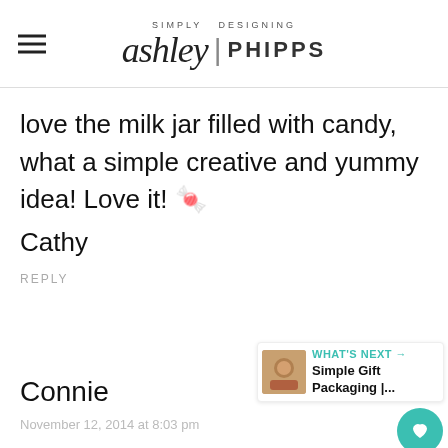SIMPLY DESIGNING ashley | PHIPPS
love the milk jar filled with candy, what a simple creative and yummy idea! Love it! 🍬
Cathy
REPLY
Connie
November 12, 2014 at 8:03 pm
WHAT'S NEXT → Simple Gift Packaging |...